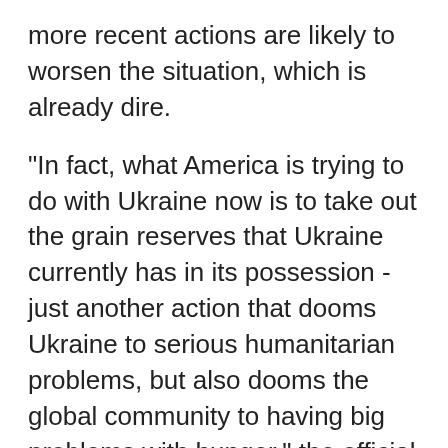more recent actions are likely to worsen the situation, which is already dire.
"In fact, what America is trying to do with Ukraine now is to take out the grain reserves that Ukraine currently has in its possession - just another action that dooms Ukraine to serious humanitarian problems, but also dooms the global community to having big problems with hunger," the official warned.
Wheat prices have shot up more than 60% this year, with the latest spike resulting from supply disruptions caused by the conflict in Ukraine and Western